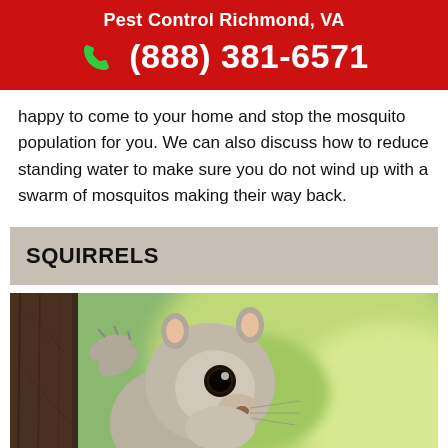Pest Control Richmond, VA
(888) 381-6571
happy to come to your home and stop the mosquito population for you. We can also discuss how to reduce standing water to make sure you do not wind up with a swarm of mosquitos making their way back.
SQUIRRELS
[Figure (photo): A gray squirrel peeking around a tree trunk, photographed up close with a blurred green background.]